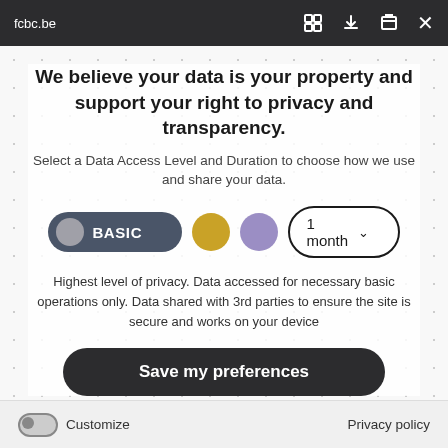fcbc.be
We believe your data is your property and support your right to privacy and transparency.
Select a Data Access Level and Duration to choose how we use and share your data.
[Figure (screenshot): Privacy consent UI controls: BASIC toggle pill (dark grey with grey circle), gold circle button, purple circle button, and a '1 month' dropdown selector]
Highest level of privacy. Data accessed for necessary basic operations only. Data shared with 3rd parties to ensure the site is secure and works on your device
Save my preferences
Customize   Privacy policy